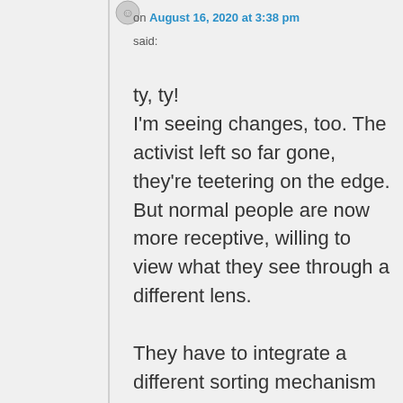on August 16, 2020 at 3:38 pm
said:
ty, ty!
I'm seeing changes, too. The activist left so far gone, they're teetering on the edge. But normal people are now more receptive, willing to view what they see through a different lens.

They have to integrate a different sorting mechanism that's coherent with their own life experience. That kind of revision is a challenge.